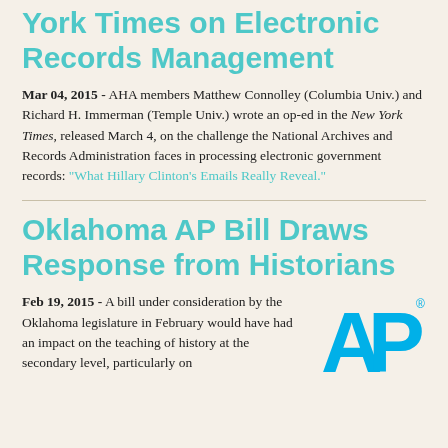York Times on Electronic Records Management
Mar 04, 2015 - AHA members Matthew Connolley (Columbia Univ.) and Richard H. Immerman (Temple Univ.) wrote an op-ed in the New York Times, released March 4, on the challenge the National Archives and Records Administration faces in processing electronic government records: "What Hillary Clinton's Emails Really Reveal."
Oklahoma AP Bill Draws Response from Historians
Feb 19, 2015 - A bill under consideration by the Oklahoma legislature in February would have had an impact on the teaching of history at the secondary level, particularly on
[Figure (logo): AP (Associated Press) logo in blue]